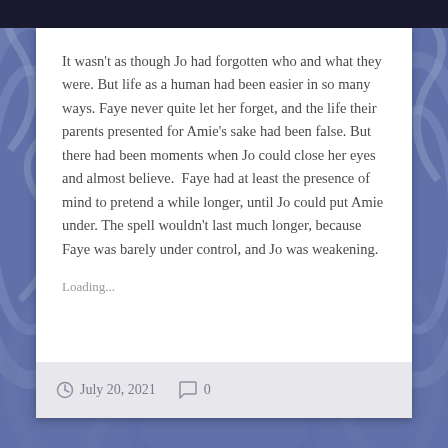It wasn't as though Jo had forgotten who and what they were. But life as a human had been easier in so many ways. Faye never quite let her forget, and the life their parents presented for Amie's sake had been false. But there had been moments when Jo could close her eyes and almost believe.  Faye had at least the presence of mind to pretend a while longer, until Jo could put Amie under. The spell wouldn't last much longer, because Faye was barely under control, and Jo was weakening.
Loading...
July 20, 2021  0